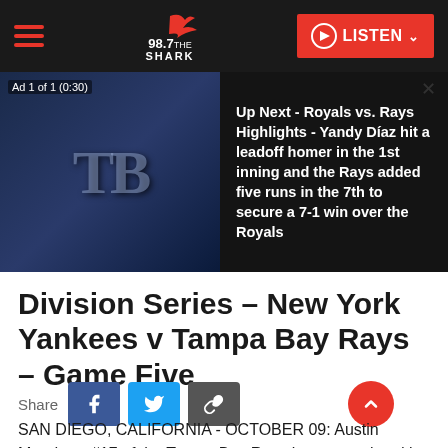98.7 The Shark — LISTEN
[Figure (screenshot): Ad overlay showing Tampa Bay Rays TB logo image on dark background with text: Ad 1 of 1 (0:30) and Up Next - Royals vs. Rays Highlights - Yandy Díaz hit a leadoff homer in the 1st inning and the Rays added five runs in the 7th to secure a 7-1 win over the Royals]
Division Series – New York Yankees v Tampa Bay Rays – Game Five
Share
SAN DIEGO, CALIFORNIA - OCTOBER 09: Austin Meadows #17 of the Tampa Bay Rays is congratulated by Randy Arozarena #56 after hitting a solo home run against the New York